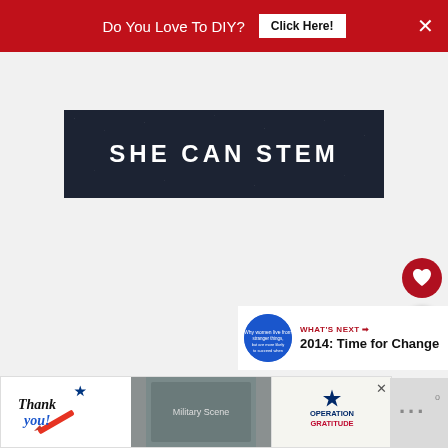Do You Love To DIY? Click Here! ×
[Figure (logo): SHE CAN STEM banner with white bold text on dark navy/black textured background]
[Figure (infographic): Heart (favorite) button - circular dark red button with white heart icon]
[Figure (infographic): Share button - circular white button with share/network icon]
WHAT'S NEXT → 2014: Time for Change
[Figure (infographic): Bottom advertisement: Thank you military appreciation with Operation Gratitude branding]